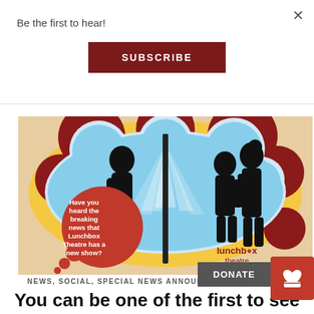Be the first to hear!
SUBSCRIBE
[Figure (illustration): Lunchbox Theatre promotional image showing silhouettes of children with speech bubble text: 'Have you heard the breaking news that Lunchbox Theatre has a new show?' with lunchbox theatre logo]
DONATE
NEWS, SOCIAL, SPECIAL NEWS ANNOUNCEMENTS
You can be one of the first to see